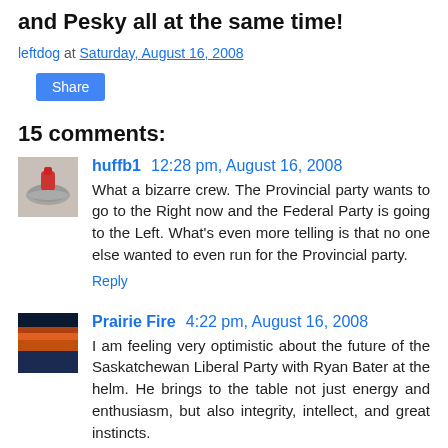and Pesky all at the same time!
leftdog at Saturday, August 16, 2008
15 comments:
huffb1 12:28 pm, August 16, 2008
What a bizarre crew. The Provincial party wants to go to the Right now and the Federal Party is going to the Left. What's even more telling is that no one else wanted to even run for the Provincial party.
Reply
Prairie Fire 4:22 pm, August 16, 2008
I am feeling very optimistic about the future of the Saskatchewan Liberal Party with Ryan Bater at the helm. He brings to the table not just energy and enthusiasm, but also integrity, intellect, and great instincts.